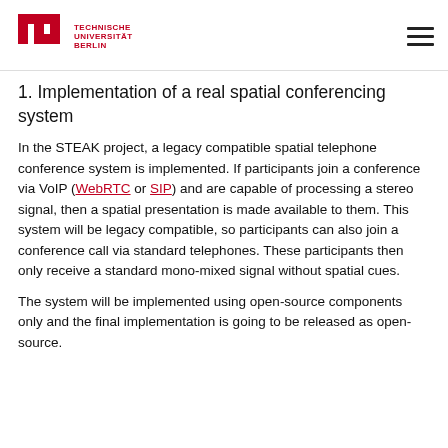Technische Universität Berlin
1. Implementation of a real spatial conferencing system
In the STEAK project, a legacy compatible spatial telephone conference system is implemented. If participants join a conference via VoIP (WebRTC or SIP) and are capable of processing a stereo signal, then a spatial presentation is made available to them. This system will be legacy compatible, so participants can also join a conference call via standard telephones. These participants then only receive a standard mono-mixed signal without spatial cues.
The system will be implemented using open-source components only and the final implementation is going to be released as open-source.